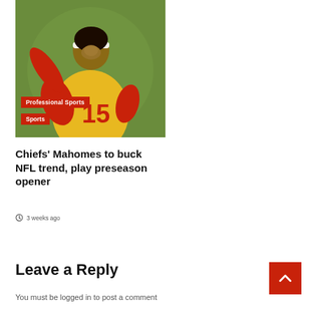[Figure (photo): NFL quarterback Patrick Mahomes in yellow jersey with red undershirt, raising arm, with red category badges overlaid: 'Professional Sports' and 'Sports']
Chiefs' Mahomes to buck NFL trend, play preseason opener
3 weeks ago
Leave a Reply
You must be logged in to post a comment